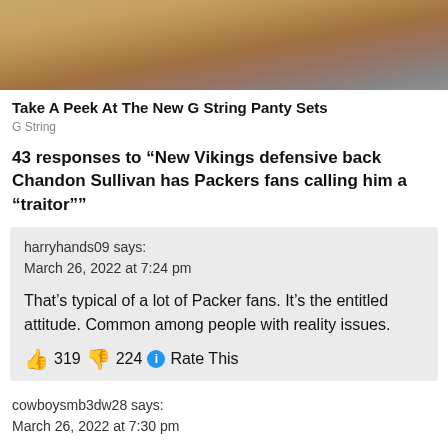[Figure (photo): Cropped photo of a woman's face and shoulder, fashion/lingerie advertisement]
Take A Peek At The New G String Panty Sets
G String
43 responses to “New Vikings defensive back Chandon Sullivan has Packers fans calling him a “traitor””
harryhands09 says:
March 26, 2022 at 7:24 pm

That’s typical of a lot of Packer fans. It’s the entitled attitude. Common among people with reality issues.

👍 319 👎 224 ℹ Rate This
cowboysmb3dw28 says:
March 26, 2022 at 7:30 pm
harryhands09 says: